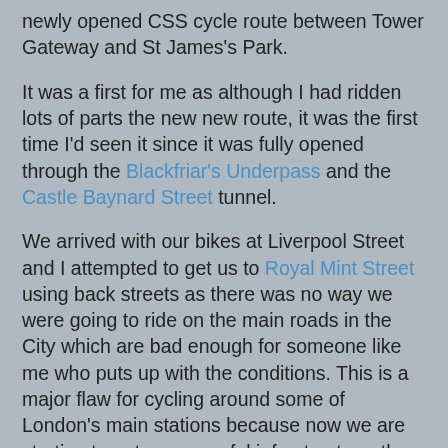newly opened CSS cycle route between Tower Gateway and St James's Park.
It was a first for me as although I had ridden lots of parts the new new route, it was the first time I'd seen it since it was fully opened through the Blackfriar's Underpass and the Castle Baynard Street tunnel.
We arrived with our bikes at Liverpool Street and I attempted to get us to Royal Mint Street using back streets as there was no way we were going to ride on the main roads in the City which are bad enough for someone like me who puts up with the conditions. This is a major flaw for cycling around some of London's main stations because now we are starting to get some useful infrastructure, the lack of safe links is all the more stark. I could have taken us to Shadwell, but it would have been more of a faff. I eventually un-lost us and we started our ride.
Within a couple of minutes of explaining where she should position herself, we had our first set of traffic signals to deal with. Being 7 (and possibly her father's daughter), she quickly understood the big signals are for when one is far